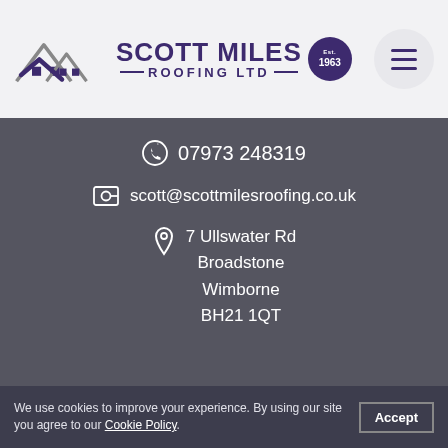[Figure (logo): Scott Miles Roofing Ltd logo with rooftop graphic and Est. 1963 badge]
07973 248319
scott@scottmilesroofing.co.uk
7 Ullswater Rd
Broadstone
Wimborne
BH21 1QT
We use cookies to improve your experience. By using our site you agree to our Cookie Policy. Accept